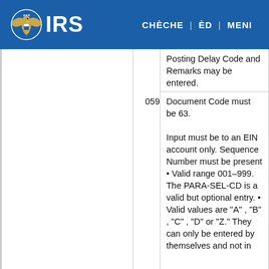IRS | CHÈCHE | ÈD | MENI
|  | Code | Description |
| --- | --- | --- |
|  |  | Posting Delay Code and Remarks may be entered. |
|  | 059 | Document Code must be 63. Input must be to an EIN account only. Sequence Number must be present • Valid range 001–999. The PARA-SEL-CD is a valid but optional entry. • Valid values are "A" , "B" , "C" , "D" or "Z." They can only be entered by themselves and not in |